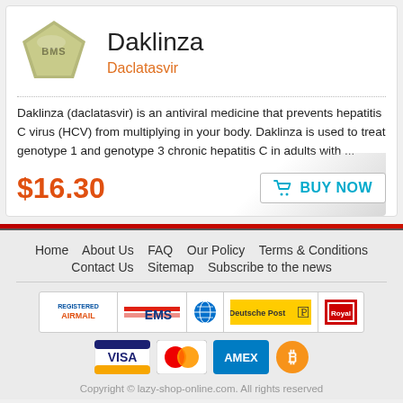[Figure (photo): Pentagon-shaped olive/khaki colored pill with 'BMS' imprint]
Daklinza
Daclatasvir
Daklinza (daclatasvir) is an antiviral medicine that prevents hepatitis C virus (HCV) from multiplying in your body. Daklinza is used to treat genotype 1 and genotype 3 chronic hepatitis C in adults with ...
$16.30
BUY NOW
Home   About Us   FAQ   Our Policy   Terms & Conditions   Contact Us   Sitemap   Subscribe to the news
[Figure (infographic): Shipping and payment method logos: Registered Airmail, EMS, globe icon, Deutsche Post, Royal Mail, VISA, MasterCard, AMEX, Bitcoin]
Copyright © lazy-shop-online.com. All rights reserved